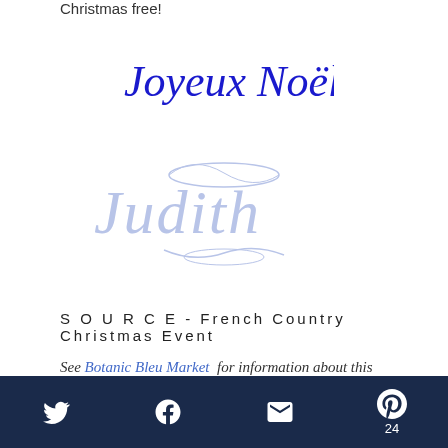Christmas free!
[Figure (illustration): Cursive blue script text reading 'Joyeux Noel']
[Figure (illustration): Ornate light blue cursive signature reading 'Judith' with decorative flourishes]
S O U R C E - French Country Christmas Event
See Botanic Bleu Market  for information about this year's French Country Christmas Event.
{Disclosure: If you purchase items from Botanic Bleu,
Twitter | Facebook | Email | Pinterest 24